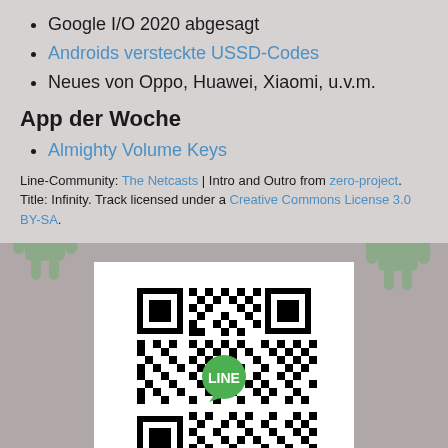Google I/O 2020 abgesagt
Androids versteckte USSD-Codes
Neues von Oppo, Huawei, Xiaomi, u.v.m.
App der Woche
Almighty Volume Keys
Line-Community: The Netcasts | Intro and Outro from zero-project. Title: Infinity. Track licensed under a Creative Commons License 3.0 BY-SA.
[Figure (other): QR code with LINE logo in the center]